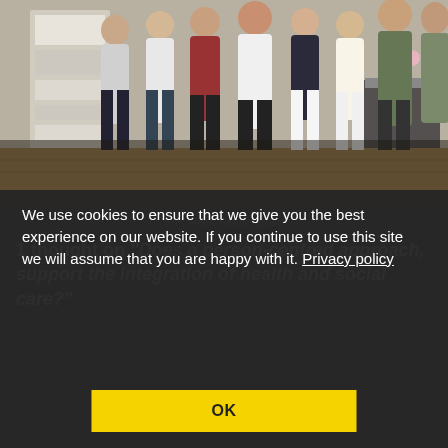[Figure (photo): Group photo of approximately 10 people standing together in a room with wooden floor and display boards in the background (KIP: Heart Failure group)]
KIP: Heart Failure group
We use cookies to ensure that we give you the best experience on our website. If you continue to use this site we will assume that you are happy with it. Privacy policy
OK
1 thought on “Does a person-centred approach, support the integration of health and social care?”